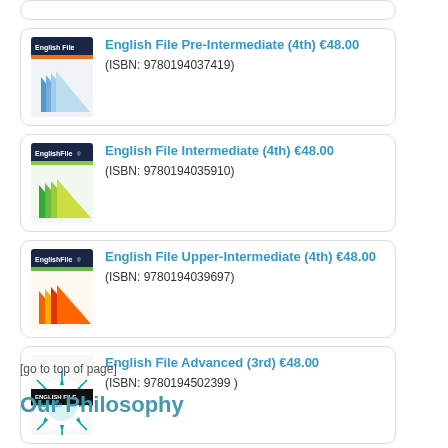[Figure (illustration): English File Pre-Intermediate (4th) book cover with blue paper fan/triangle shapes]
English File Pre-Intermediate (4th) €48.00
(ISBN: 9780194037419)
[Figure (illustration): English File Intermediate (4th) book cover with green/yellow paper fan shapes]
English File Intermediate (4th) €48.00
(ISBN: 9780194035910)
[Figure (illustration): English File Upper-Intermediate (4th) book cover with orange/red paper fan shapes]
English File Upper-Intermediate (4th) €48.00
(ISBN: 9780194039697)
[Figure (illustration): English File Advanced (3rd) book cover with starburst/spiky design]
English File Advanced (3rd) €48.00
(ISBN: 9780194502399 )
Sign up for course
[go to top of page]
Our Philosophy